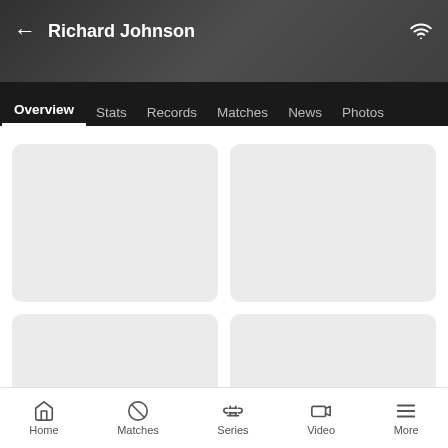Richard Johnson
Overview  Stats  Records  Matches  News  Photos
[Figure (screenshot): Four placeholder content cards in a 2x2 grid, loading state with gray background]
Home  Matches  Series  Video  More